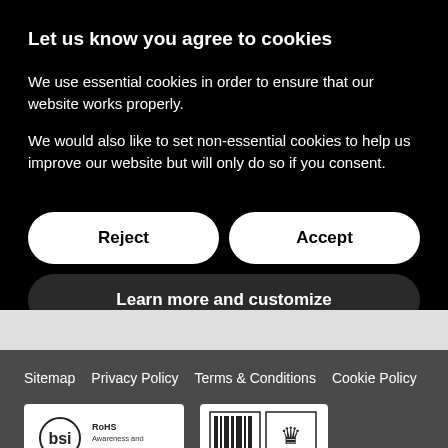Let us know you agree to cookies
We use essential cookies in order to ensure that our website works properly.
We would also like to set non-essential cookies to help us improve our website but will only do so if you consent.
Reject
Accept
Learn more and customize
Sitemap  Privacy Policy  Terms & Conditions  Cookie Policy
[Figure (logo): BSI logo badge with RoHS Awareness and text]
[Figure (logo): Certification badge with barcode-style bars and crown symbol]